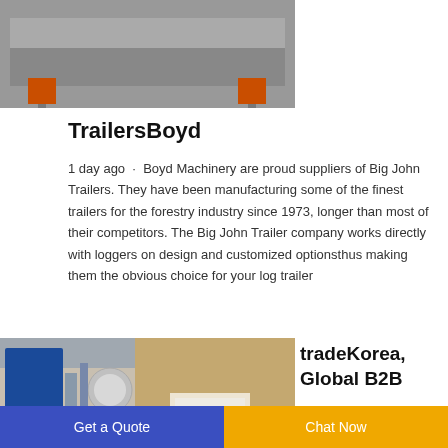[Figure (photo): Photo of industrial machinery (likely a trailer or conveyor) with orange support blocks on the bottom left and right, shot against a gray background.]
TrailersBoyd
1 day ago · Boyd Machinery are proud suppliers of Big John Trailers. They have been manufacturing some of the finest trailers for the forestry industry since 1973, longer than most of their competitors. The Big John Trailer company works directly with loggers on design and customized optionsthus making them the obvious choice for your log trailer
[Figure (photo): Photo of industrial equipment in a factory or warehouse setting, with blue and tan-colored machinery visible.]
tradeKorea, Global B2B
Get a Quote   Chat Now